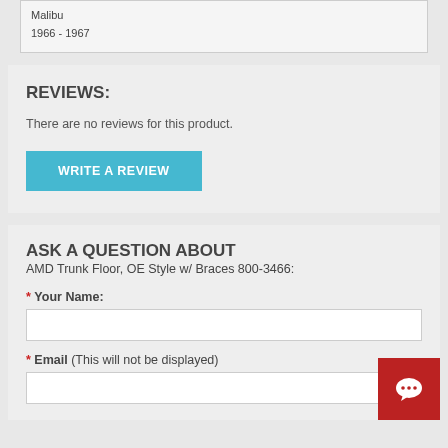Malibu
1966 - 1967
REVIEWS:
There are no reviews for this product.
WRITE A REVIEW
ASK A QUESTION ABOUT
AMD Trunk Floor, OE Style w/ Braces 800-3466:
* Your Name:
* Email (This will not be displayed)